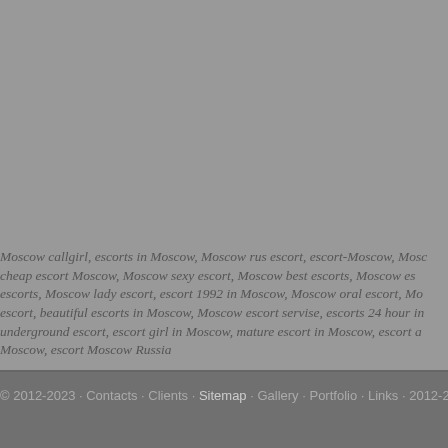Moscow callgirl, escorts in Moscow, Moscow rus escort, escort-Moscow, Moscow cheap escort Moscow, Moscow sexy escort, Moscow best escorts, Moscow escorts, Moscow lady escort, escort 1992 in Moscow, Moscow oral escort, escort, beautiful escorts in Moscow, Moscow escort servise, escorts 24 hour in underground escort, escort girl in Moscow, mature escort in Moscow, escort a Moscow, escort Moscow Russia
© 2012-2023 · Contacts · Clients · Gallery · Portfolio · Links · Sitemap · 2012-2023